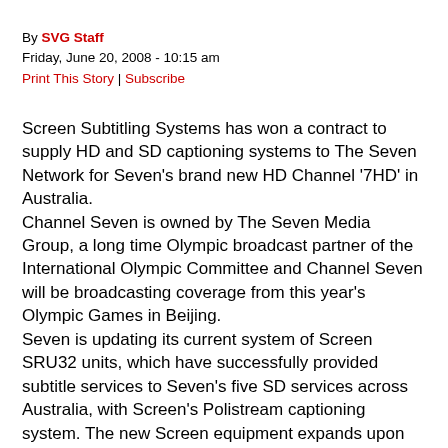By SVG Staff
Friday, June 20, 2008 - 10:15 am
Print This Story | Subscribe
Screen Subtitling Systems has won a contract to supply HD and SD captioning systems to The Seven Network for Seven's brand new HD Channel '7HD' in Australia. Channel Seven is owned by The Seven Media Group, a long time Olympic broadcast partner of the International Olympic Committee and Channel Seven will be broadcasting coverage from this year's Olympic Games in Beijing. Seven is updating its current system of Screen SRU32 units, which have successfully provided subtitle services to Seven's five SD services across Australia, with Screen's Polistream captioning system. The new Screen equipment expands upon the capability